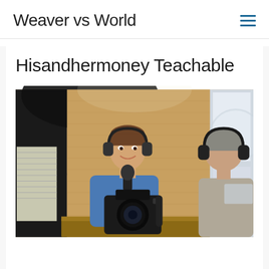Weaver vs World
Hisandhermoney Teachable
[Figure (photo): Two people in a podcast recording studio setting. One person wearing a blue shirt and headphones sits facing the camera smiling, with a microphone in front of them. Another person with gray hair and headphones sits with their back to the camera. A DSLR camera on a stand is visible in the foreground. The studio has exposed brick walls and large windows.]